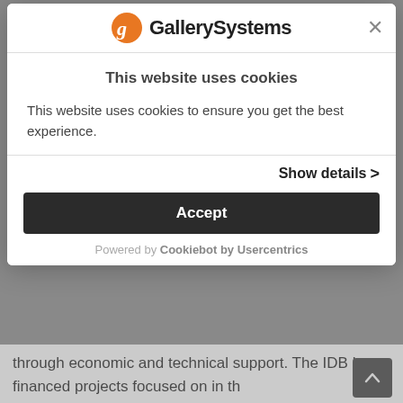[Figure (screenshot): GallerySystems website cookie consent modal dialog overlay on top of a webpage. The modal has a header with the GallerySystems logo (orange person icon and bold 'GallerySystems' text), a close X button, a section titled 'This website uses cookies', body text explaining cookie usage, a 'Show details >' link, a dark Accept button, and a 'Powered by Cookiebot by Usercentrics' footer. Behind the modal, partially visible body text reads 'through economic and technical support. The IDB has financed projects focused on in th']
through economic and technical support. The IDB has financed projects focused on in th
This website uses cookies
This website uses cookies to ensure you get the best experience.
Show details >
Accept
Powered by Cookiebot by Usercentrics